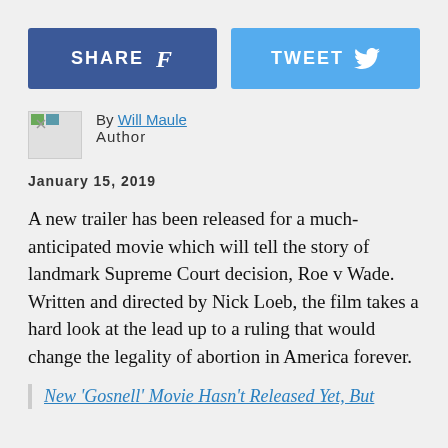[Figure (other): Share on Facebook button (dark blue) and Tweet button (light blue) side by side]
By Will Maule
Author
January 15, 2019
A new trailer has been released for a much-anticipated movie which will tell the story of landmark Supreme Court decision, Roe v Wade. Written and directed by Nick Loeb, the film takes a hard look at the lead up to a ruling that would change the legality of abortion in America forever.
New ‘Gosnell’ Movie Hasn’t Released Yet, But